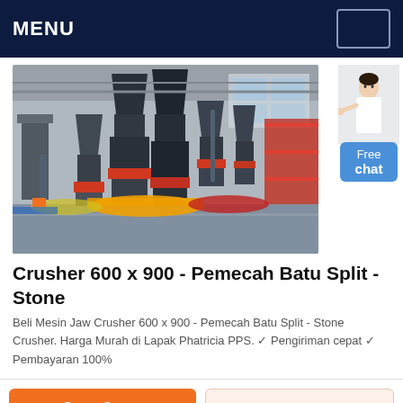MENU
[Figure (photo): Industrial machinery showroom with large stone crusher and grinding mill machines displayed in a factory hall. Multiple large cone-shaped and cylindrical machines on colored platforms visible.]
Crusher 600 x 900 - Pemecah Batu Split - Stone
Beli Mesin Jaw Crusher 600 x 900 - Pemecah Batu Split - Stone Crusher. Harga Murah di Lapak Phatricia PPS. ✓ Pengiriman cepat ✓ Pembayaran 100%
Get a Quote
WhatsApp